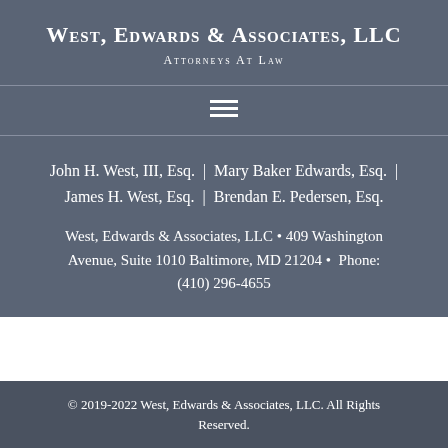West, Edwards & Associates, LLC
Attorneys At Law
[Figure (other): Hamburger menu icon (three horizontal bars)]
John H. West, III, Esq.  |  Mary Baker Edwards, Esq.  |  James H. West, Esq.  |  Brendan E. Pedersen, Esq.
West, Edwards & Associates, LLC  •  409 Washington Avenue, Suite 1010 Baltimore, MD 21204  •  Phone: (410) 296-4655
© 2019-2022 West, Edwards & Associates, LLC. All Rights Reserved.